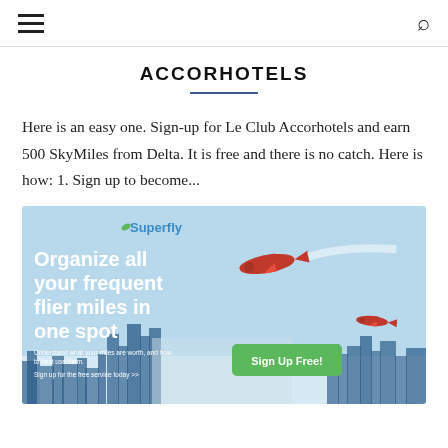Navigation bar with hamburger menu and search icon
ACCORHOTELS
Here is an easy one. Sign-up for Le Club Accorhotels and earn 500 SkyMiles from Delta. It is free and there is no catch. Here is how: 1. Sign up to become...
[Figure (illustration): Superfly advertisement banner showing airplanes over a city skyline with text 'Organize all your frequent flier miles in one spot' and a green 'Sign Up Free!' button]